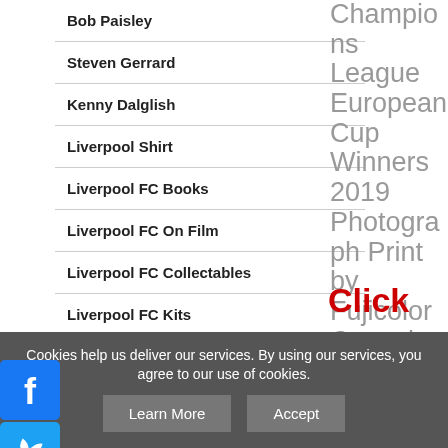Bob Paisley
Steven Gerrard
Kenny Dalglish
Liverpool Shirt
Liverpool FC Books
Liverpool FC On Film
Liverpool FC Collectables
Liverpool FC Kits
Liverpool Greats
Champions League European Cup Winners 2019 Photograph Print by Fujicolor Crystal Archive Paper
Click
Cookies help us deliver our services. By using our services, you agree to our use of cookies. Learn More Accept